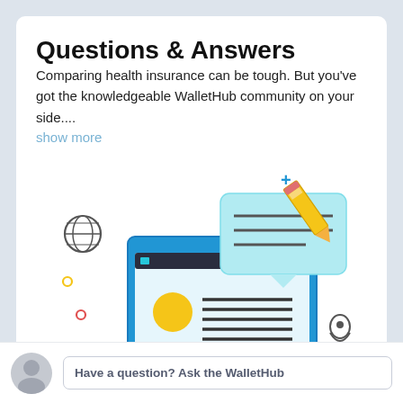Questions & Answers
Comparing health insurance can be tough. But you've got the knowledgeable WalletHub community on your side....
show more
[Figure (illustration): Illustration of a desktop computer monitor with a speech bubble containing lines of text and a pencil, surrounded by decorative icons (globe, plus signs, circles, location pin) on a light background.]
Have a question? Ask the WalletHub community